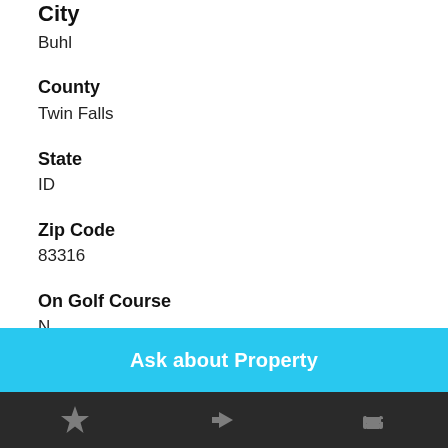City
Buhl
County
Twin Falls
State
ID
Zip Code
83316
On Golf Course
N
Has View
N
Ask about Property